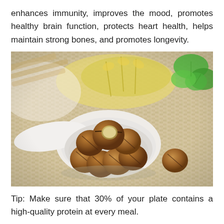enhances immunity, improves the mood, promotes healthy brain function, protects heart health, helps maintain strong bones, and promotes longevity.
[Figure (photo): A white spoon-shaped bowl filled with macadamia nuts, some in their brown shells and one cracked open showing the cream-colored nut inside, resting on a woven basket mat with yellow flowers and green clover leaves in the background. One lone macadamia nut sits to the right on the mat.]
Tip: Make sure that 30% of your plate contains a high-quality protein at every meal.